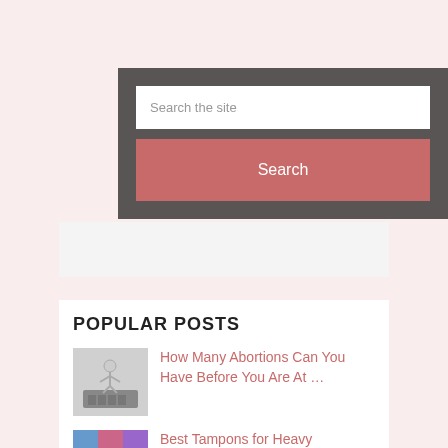Search the site
Search
POPULAR POSTS
How Many Abortions Can You Have Before You Are At …
Best Tampons for Heavy